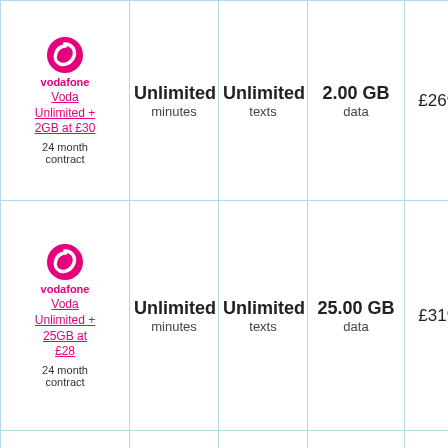| Plan | Minutes | Texts | Data | Price |
| --- | --- | --- | --- | --- |
| Voda Unlimited + 2GB at £30
24 month contract | Unlimited minutes | Unlimited texts | 2.00 GB data | £269.99 |
| Voda Unlimited + 25GB at £28
24 month contract | Unlimited minutes | Unlimited texts | 25.00 GB data | £319.99 |
|  |  |  |  |  |